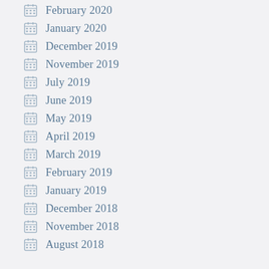February 2020
January 2020
December 2019
November 2019
July 2019
June 2019
May 2019
April 2019
March 2019
February 2019
January 2019
December 2018
November 2018
August 2018